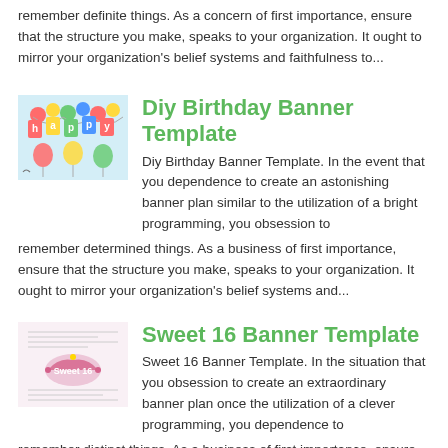remember definite things. As a concern of first importance, ensure that the structure you make, speaks to your organization. It ought to mirror your organization's belief systems and faithfulness to...
Diy Birthday Banner Template
[Figure (illustration): Colorful birthday banner illustration with letters spelling 'happy birthday' and balloons]
Diy Birthday Banner Template. In the event that you dependence to create an astonishing banner plan similar to the utilization of a bright programming, you obsession to remember determined things. As a business of first importance, ensure that the structure you make, speaks to your organization. It ought to mirror your organization's belief systems and...
Sweet 16 Banner Template
[Figure (illustration): Sweet 16 banner template thumbnail with decorative pink design and text]
Sweet 16 Banner Template. In the situation that you obsession to create an extraordinary banner plan once the utilization of a clever programming, you dependence to remember distinct things. As a business of first importance, ensure that the structure you make, speaks to your organization. It ought to mirror your organization's belief systems and duty...
Posted in Banner Template